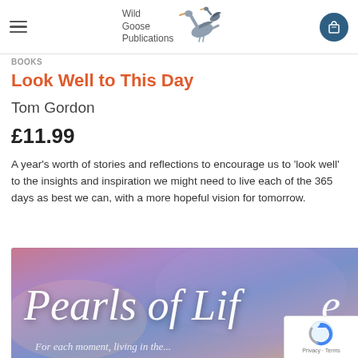Wild Goose Publications
BOOKS
Look Well to This Day
Tom Gordon
£11.99
A year's worth of stories and reflections to encourage us to 'look well' to the insights and inspiration we might need to live each of the 365 days as best we can, with a more hopeful vision for tomorrow.
[Figure (photo): Book cover showing 'Pearls of Life' with a purple/pink sky gradient background and italic white serif text]
Privacy · Terms